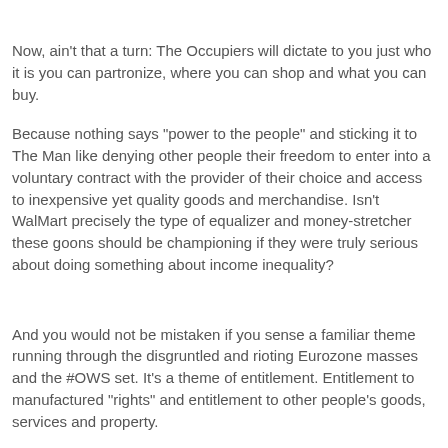Now, ain't that a turn: The Occupiers will dictate to you just who it is you can partronize, where you can shop and what you can buy.
Because nothing says "power to the people" and sticking it to The Man like denying other people their freedom to enter into a voluntary contract with the provider of their choice and access to inexpensive yet quality goods and merchandise. Isn't WalMart precisely the type of equalizer and money-stretcher these goons should be championing if they were truly serious about doing something about income inequality?
And you would not be mistaken if you sense a familiar theme running through the disgruntled and rioting Eurozone masses and the #OWS set. It's a theme of entitlement. Entitlement to manufactured "rights" and entitlement to other people's goods, services and property.